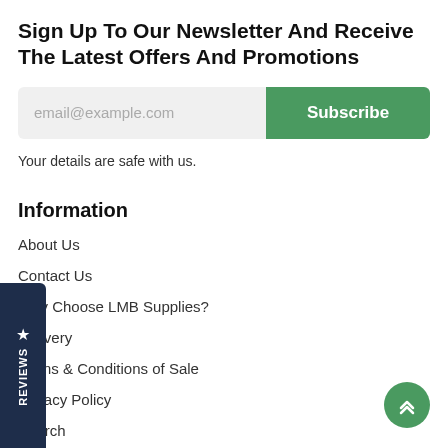Sign Up To Our Newsletter And Receive The Latest Offers And Promotions
[Figure (screenshot): Email subscription form with a gray input field showing placeholder text 'email@example.com' and a green 'Subscribe' button]
Your details are safe with us.
Information
About Us
Contact Us
Why Choose LMB Supplies?
Delivery
Terms & Conditions of Sale
Privacy Policy
Search